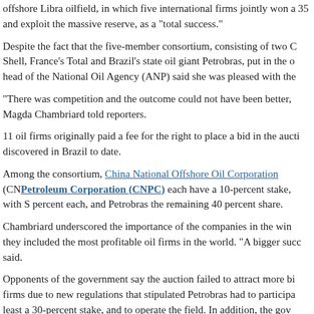offshore Libra oilfield, in which five international firms jointly won a 35... and exploit the massive reserve, as a "total success."
Despite the fact that the five-member consortium, consisting of two C... Shell, France's Total and Brazil's state oil giant Petrobras, put in the o... head of the National Oil Agency (ANP) said she was pleased with the...
"There was competition and the outcome could not have been better,... Magda Chambriard told reporters.
11 oil firms originally paid a fee for the right to place a bid in the aucti... discovered in Brazil to date.
Among the consortium, China National Offshore Oil Corporation (CNC... Petroleum Corporation (CNPC) each have a 10-percent stake, with S... percent each, and Petrobras the remaining 40 percent share.
Chambriard underscored the importance of the companies in the win... they included the most profitable oil firms in the world. "A bigger succ... said.
Opponents of the government say the auction failed to attract more bi... firms due to new regulations that stipulated Petrobras had to participa... least a 30-percent stake, and to operate the field. In addition, the gov... minimum of 41.65 percent of output after initial investment costs are c...
However, Mines and Energy Minister Edison Lobao dismissed the crit... consortium agreed to the 41.65-percent minimum in output, as well as...